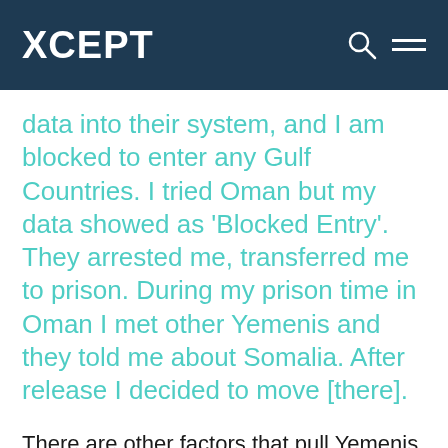XCEPT
data into their system, and I am blocked to enter any Gulf Countries. I tried Oman but my data showed as 'Blocked Entry'. They arrested me, transferred me to prison. During my prison time in Oman I met other Yemenis and they told me about Somalia. After release I decided to move [there].
There are other factors that pull Yemenis to Puntland. First, the established Mukulla-Bosaso transport corridor means that Puntland is quite easy to get to, particularly from Yemen's south-eastern Hadhramaut region, where security is generally better than the rest of the country. Most refugees